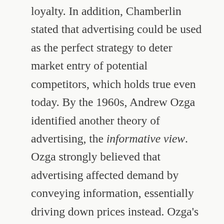loyalty. In addition, Chamberlin stated that advertising could be used as the perfect strategy to deter market entry of potential competitors, which holds true even today. By the 1960s, Andrew Ozga identified another theory of advertising, the informative view. Ozga strongly believed that advertising affected demand by conveying information, essentially driving down prices instead. Ozga's theory rests on the assumption that advertising is most useful to efficient firms that set lower prices in comparison to their competitors and reap the benefit from production scale economies (though it should be mentioned that informative advertising only affects those with a high degree of